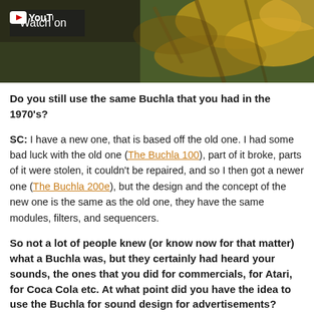[Figure (screenshot): Video thumbnail showing a nature scene with yellow/orange foliage. Overlaid with a dark 'Watch on YouTube' badge in the top-left corner.]
Do you still use the same Buchla that you had in the 1970's?
SC: I have a new one, that is based off the old one. I had some bad luck with the old one (The Buchla 100), part of it broke, parts of it were stolen, it couldn't be repaired, and so I then got a newer one (The Buchla 200e), but the design and the concept of the new one is the same as the old one, they have the same modules, filters, and sequencers.
So not a lot of people knew (or know now for that matter) what a Buchla was, but they certainly had heard your sounds, the ones that you did for commercials, for Atari, for Coca Cola etc. At what point did you have the idea to use the Buchla for sound design for advertisements?
SC: Well, really it was because I was hungry, quite literally,